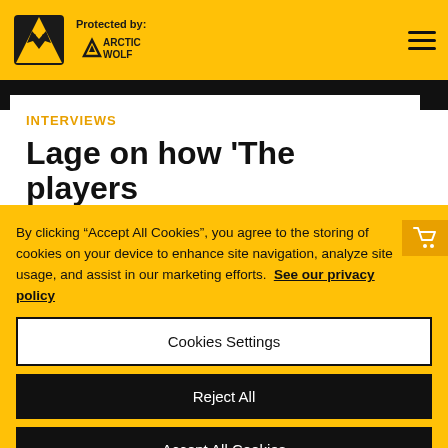Protected by: ARCTIC WOLF
INTERVIEWS
Lage on how 'The players did everything...
By clicking "Accept All Cookies", you agree to the storing of cookies on your device to enhance site navigation, analyze site usage, and assist in our marketing efforts. See our privacy policy
Cookies Settings
Reject All
Accept All Cookies